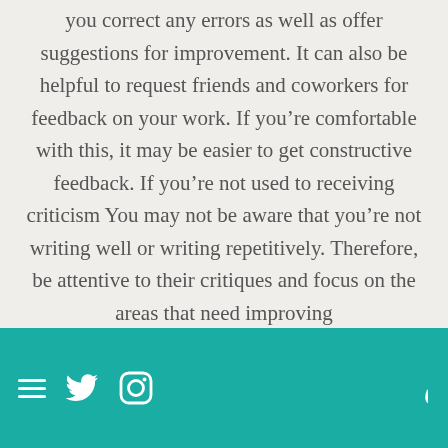you correct any errors as well as offer suggestions for improvement. It can also be helpful to request friends and coworkers for feedback on your work. If you're comfortable with this, it may be easier to get constructive feedback. If you're not used to receiving criticism You may not be aware that you're not writing well or writing repetitively. Therefore, be attentive to their critiques and focus on the areas that need improving
Navigation icons and Arabic logo on teal background